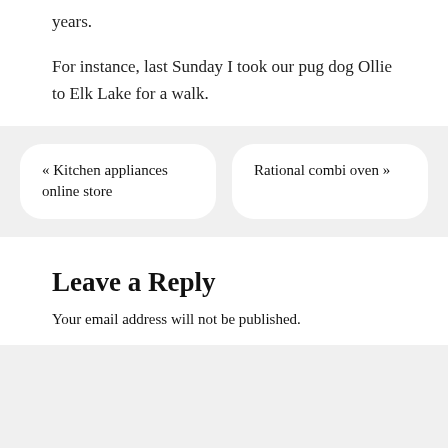years.
For instance, last Sunday I took our pug dog Ollie to Elk Lake for a walk.
« Kitchen appliances online store
Rational combi oven »
Leave a Reply
Your email address will not be published.